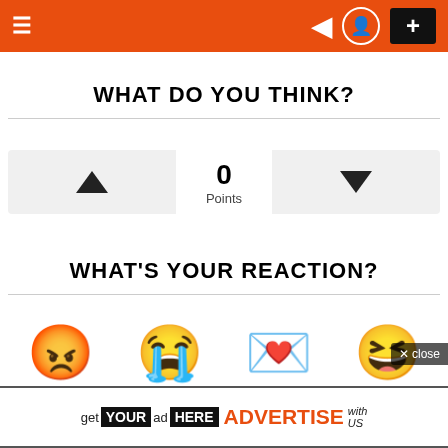≡ navigation header with dark mode, user, and add buttons
WHAT DO YOU THINK?
[Figure (infographic): Voting widget with upvote button, 0 Points score, and downvote button]
WHAT'S YOUR REACTION?
[Figure (infographic): Four emoji reaction faces: angry, crying, kissing, laughing]
get YOUR ad HERE ADVERTISE with US